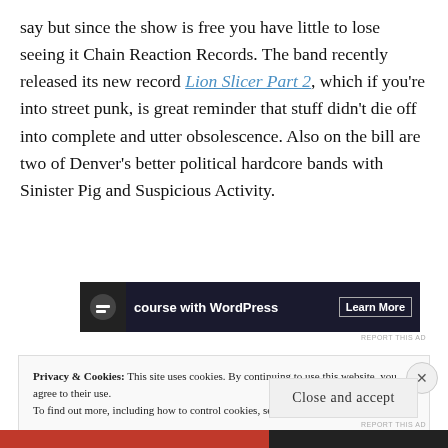say but since the show is free you have little to lose seeing it Chain Reaction Records. The band recently released its new record Lion Slicer Part 2, which if you're into street punk, is great reminder that stuff didn't die off into complete and utter obsolescence. Also on the bill are two of Denver's better political hardcore bands with Sinister Pig and Suspicious Activity.
[Figure (other): Advertisement banner for a WordPress course with a dark background, showing a circular logo icon, 'course with WordPress' text, and a 'Learn More' button.]
Privacy & Cookies: This site uses cookies. By continuing to use this website, you agree to their use. To find out more, including how to control cookies, see here: Cookie Policy
Close and accept